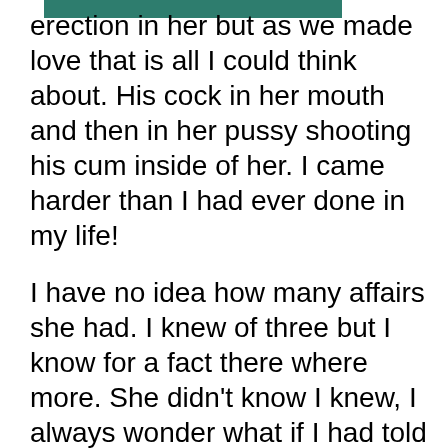erection in her but as we made love that is all I could think about. His cock in her mouth and then in her pussy shooting his cum inside of her. I came harder than I had ever done in my life!
I have no idea how many affairs she had. I knew of three but I know for a fact there where more. She didn't know I knew, I always wonder what if I had told her I wanted her to have sex with other men but I never had the courage. Finally we divorced and that is when I found out that first night we had sex so many years ago was just because she had gone out to a party and fucked at least two guys. Her girlfriend spilled it